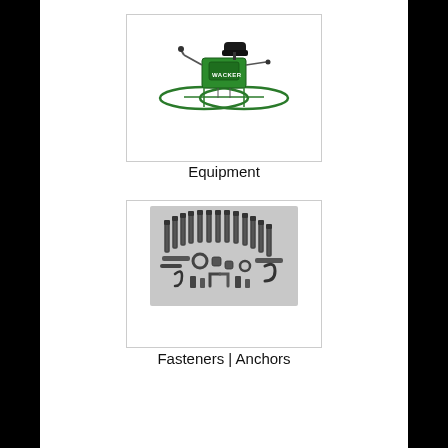[Figure (photo): A green ride-on power trowel machine (Wacker brand) with a seat, handles, and two large round trowel pans at the bottom.]
Equipment
[Figure (photo): An assortment of fasteners and anchors including bolts, nuts, washers, hooks, and other hardware arranged in a fan/arc pattern on a grey background.]
Fasteners | Anchors